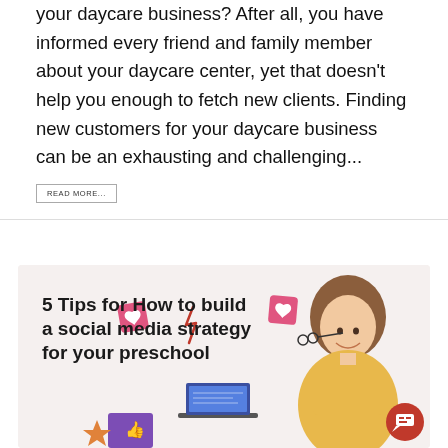your daycare business? After all, you have informed every friend and family member about your daycare center, yet that doesn't help you enough to fetch new clients. Finding new customers for your daycare business can be an exhausting and challenging...
READ MORE...
[Figure (illustration): Promotional card with a beige/cream background showing a smiling woman in a yellow jacket holding glasses, surrounded by social media heart icons and a tablet/laptop device. Bold text overlay reads '5 Tips for How to build a social media strategy for your preschool'. A red chat bubble icon appears in the bottom right corner.]